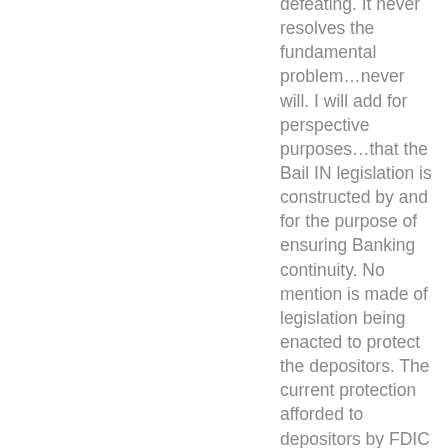defeating. It never resolves the fundamental problem…never will. I will add for perspective purposes…that the Bail IN legislation is constructed by and for the purpose of ensuring Banking continuity. No mention is made of legislation being enacted to protect the depositors. The current protection afforded to depositors by FDIC is capable of being reduced at a moments notice. Be